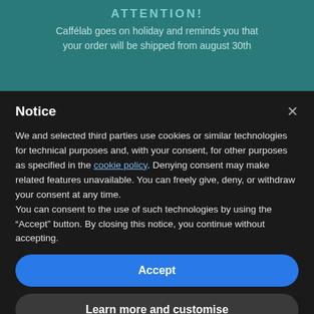ATTENTION!
Caffélab goes on holiday and reminds you that your order will be shipped from august 30th
Notice
We and selected third parties use cookies or similar technologies for technical purposes and, with your consent, for other purposes as specified in the cookie policy. Denying consent may make related features unavailable. You can freely give, deny, or withdraw your consent at any time.
You can consent to the use of such technologies by using the "Accept" button. By closing this notice, you continue without accepting.
Accept
Learn more and customise